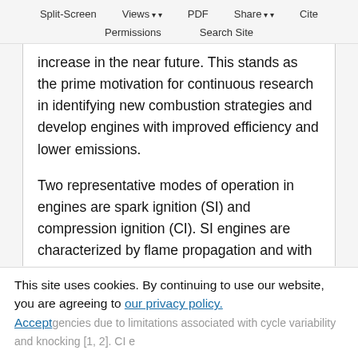Split-Screen   Views   PDF   Share   Cite
Permissions   Search Site
increase in the near future. This stands as the prime motivation for continuous research in identifying new combustion strategies and develop engines with improved efficiency and lower emissions.

Two representative modes of operation in engines are spark ignition (SI) and compression ignition (CI). SI engines are characterized by flame propagation and with small modifications can achieve low tailpipe soot and NOx emissions, but they are compromised to operate at lower efficiencies due to limitations associated with cycle variability and knocking [1, 2]. CI engines
This site uses cookies. By continuing to use our website, you are agreeing to our privacy policy.
Accept